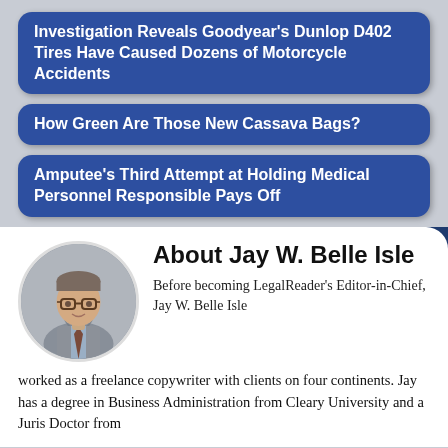Investigation Reveals Goodyear's Dunlop D402 Tires Have Caused Dozens of Motorcycle Accidents
How Green Are Those New Cassava Bags?
Amputee's Third Attempt at Holding Medical Personnel Responsible Pays Off
About Jay W. Belle Isle
Before becoming LegalReader's Editor-in-Chief, Jay W. Belle Isle worked as a freelance copywriter with clients on four continents. Jay has a degree in Business Administration from Cleary University and a Juris Doctor from